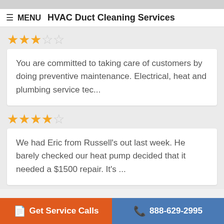MENU  HVAC Duct Cleaning Services
★★★☆☆
You are committed to taking care of customers by doing preventive maintenance. Electrical, heat and plumbing service tec...
★★★★☆
We had Eric from Russell's out last week. He barely checked our heat pump decided that it needed a $1500 repair. It's ...
Get Service Calls  888-629-2995